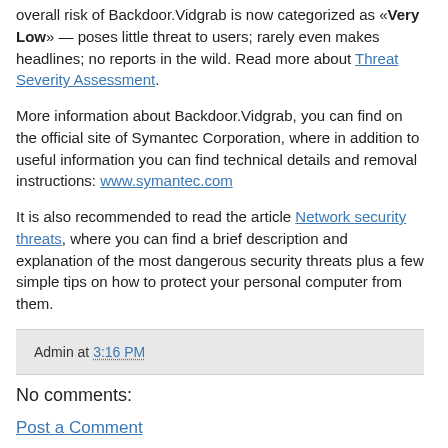overall risk of Backdoor.Vidgrab is now categorized as «Very Low» — poses little threat to users; rarely even makes headlines; no reports in the wild. Read more about Threat Severity Assessment.
More information about Backdoor.Vidgrab, you can find on the official site of Symantec Corporation, where in addition to useful information you can find technical details and removal instructions: www.symantec.com
It is also recommended to read the article Network security threats, where you can find a brief description and explanation of the most dangerous security threats plus a few simple tips on how to protect your personal computer from them.
Admin at 3:16 PM
No comments:
Post a Comment